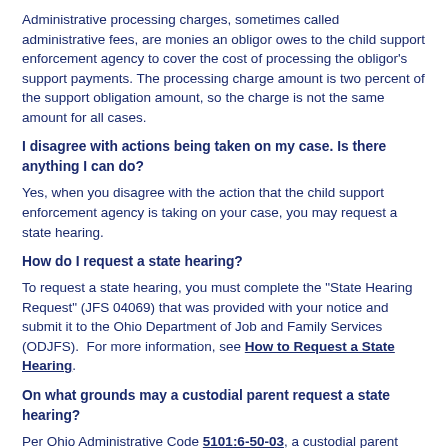Administrative processing charges, sometimes called administrative fees, are monies an obligor owes to the child support enforcement agency to cover the cost of processing the obligor's support payments. The processing charge amount is two percent of the support obligation amount, so the charge is not the same amount for all cases.
I disagree with actions being taken on my case. Is there anything I can do?
Yes, when you disagree with the action that the child support enforcement agency is taking on your case, you may request a state hearing.
How do I request a state hearing?
To request a state hearing, you must complete the "State Hearing Request" (JFS 04069) that was provided with your notice and submit it to the Ohio Department of Job and Family Services (ODJFS).  For more information, see How to Request a State Hearing.
On what grounds may a custodial parent request a state hearing?
Per Ohio Administrative Code 5101:6-50-03, a custodial parent may request a state hearing for any of the following reasons:
An application for child support services has been denied, acted upon erroneously, or not acted upon with reasonable promptness.
A recipient of child support services believes the case has been